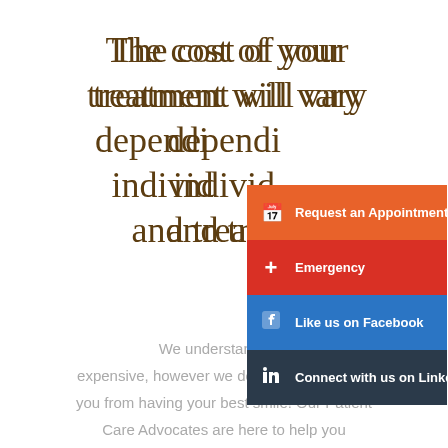The cost of your treatment will vary depending on individual needs and trea...
[Figure (infographic): Overlay dropdown menu with four colored items: 'Request an Appointment' (orange), 'Emergency' (red), 'Like us on Facebook' (blue), 'Connect with us on LinkedIn' (dark navy).]
We understand that... expensive, however we don't want that keep you from having your best smile! Our Patient Care Advocates are here to help you coordinate your insurance benefits as well as...